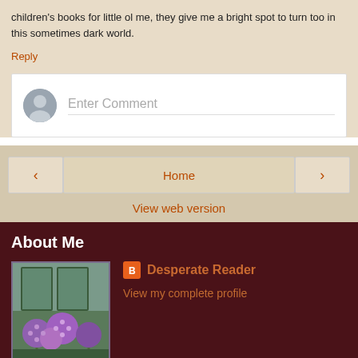children's books for little ol me, they give me a bright spot to turn too in this sometimes dark world.
Reply
[Figure (screenshot): Comment input box with avatar icon and 'Enter Comment' placeholder text]
[Figure (screenshot): Navigation bar with left arrow, Home button, right arrow, and View web version link]
About Me
[Figure (photo): Profile photo showing purple allium flowers in front of a greenhouse]
Desperate Reader
View my complete profile
Powered by Blogger.